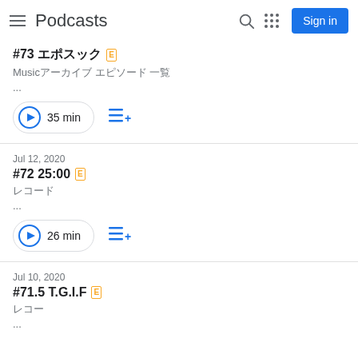Podcasts
#73 [Japanese text] E | Music[Japanese text] | ...
35 min
Jul 12, 2020 | #72 25:00 E | [Japanese text] | ... | 26 min
Jul 10, 2020 | #71.5 T.G.I.F E | [Japanese text] | ...